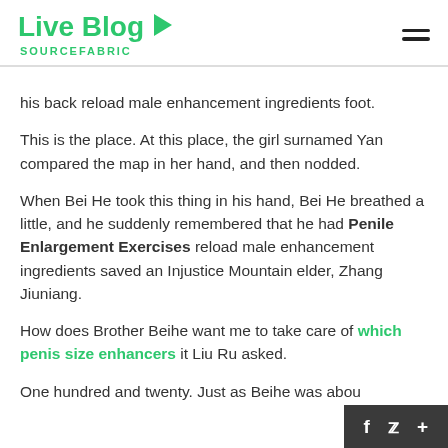Live Blog SOURCEFABRIC
his back reload male enhancement ingredients foot.
This is the place. At this place, the girl surnamed Yan compared the map in her hand, and then nodded.
When Bei He took this thing in his hand, Bei He breathed a little, and he suddenly remembered that he had Penile Enlargement Exercises reload male enhancement ingredients saved an Injustice Mountain elder, Zhang Jiuniang.
How does Brother Beihe want me to take care of which penis size enhancers it Liu Ru asked.
One hundred and twenty. Just as Beihe was abou